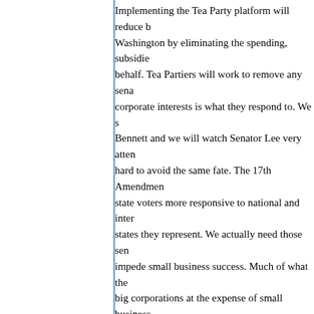Implementing the Tea Party platform will reduce b... Washington by eliminating the spending, subsidie... behalf. Tea Partiers will work to remove any sena... corporate interests is what they respond to. We s... Bennett and we will watch Senator Lee very atten... hard to avoid the same fate. The 17th Amendmen... state voters more responsive to national and inter... states they represent. We actually need those sen... impede small business success. Much of what the... big corporations at the expense of small business... the people can regain control of events in Washin... sustainability of this effort, but I still have hope.
Posted by: GoodOleBoy | March 13, 2011 at 11:00 PM
Similarly, regardless of the "rats" which the foot s... are led to believe they are fighting for, the Koch b... that the real goal of their so-called tea party revol... their ever-increasing wealth.
Which is probably why they each gave $10 million... bastion of Bircher fundamentalism. Not to mention... given to other notorious right-wing causes, such a...